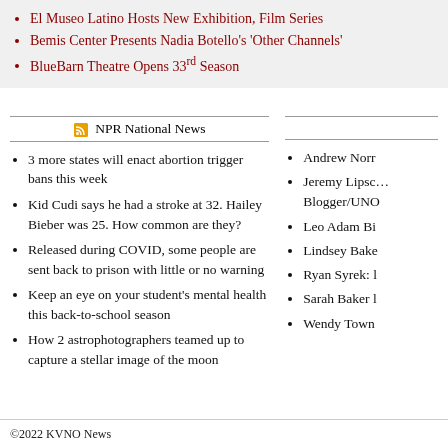El Museo Latino Hosts New Exhibition, Film Series
Bemis Center Presents Nadia Botello's 'Other Channels'
BlueBarn Theatre Opens 33rd Season
NPR National News
3 more states will enact abortion trigger bans this week
Kid Cudi says he had a stroke at 32. Hailey Bieber was 25. How common are they?
Released during COVID, some people are sent back to prison with little or no warning
Keep an eye on your student's mental health this back-to-school season
How 2 astrophotographers teamed up to capture a stellar image of the moon
Andrew Norr
Jeremy Lipsc… Blogger/UNO
Leo Adam Bi
Lindsey Bake
Ryan Syrek: l
Sarah Baker l
Wendy Town
©2022 KVNO News